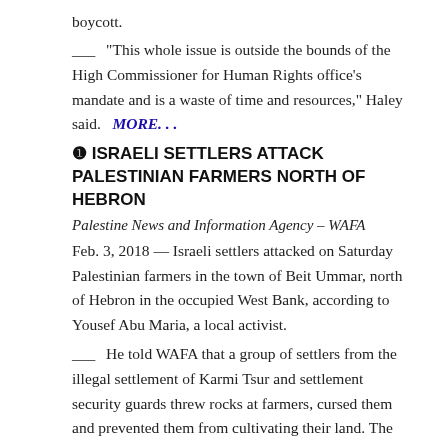boycott.
___"This whole issue is outside the bounds of the High Commissioner for Human Rights office's mandate and is a waste of time and resources," Haley said.   MORE...
❸ ISRAELI SETTLERS ATTACK PALESTINIAN FARMERS NORTH OF HEBRON
Palestine News and Information Agency – WAFA
Feb. 3, 2018 — Israeli settlers attacked on Saturday Palestinian farmers in the town of Beit Ummar, north of Hebron in the occupied West Bank, according to Yousef Abu Maria, a local activist.
___He told WAFA that a group of settlers from the illegal settlement of Karmi Tsur and settlement security guards threw rocks at farmers, cursed them and prevented them from cultivating their land. The settlement is built on seized Palestinian land that belong to Beit Ummar and other area villages.   MORE...
❹ — (A) 'CONSTRUCTION TERROR' ISRAEL'S